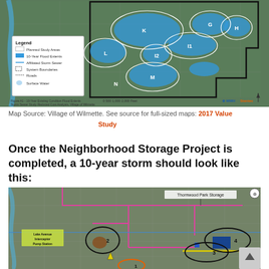[Figure (map): 10-Year Existing Condition Flood Extents Storm Sewer Study Reduced Cost Analysis Village of Wilmette map, showing blue flood areas labeled with letters (G, H, I1, I2, L, M, N, K). Legend shows Planned Study Areas, 10-Year Flood Extents, Attached Storm Sewer, System Boundaries, Roads, Surface Water. Produced by MWH and Stantec.]
Map Source: Village of Wilmette. See source for full-sized maps: 2017 Value Study
Once the Neighborhood Storage Project is completed, a 10-year storm should look like this:
[Figure (map): Map showing the Village of Wilmette neighborhood storage project layout after completion. Shows numbered storage locations (1-4), Thornwood Park Storage label, pink/magenta lines for infrastructure, yellow and blue lines, Lake Avenue Interceptor Pump Station label on left side, and a scroll-to-top button in lower right corner.]